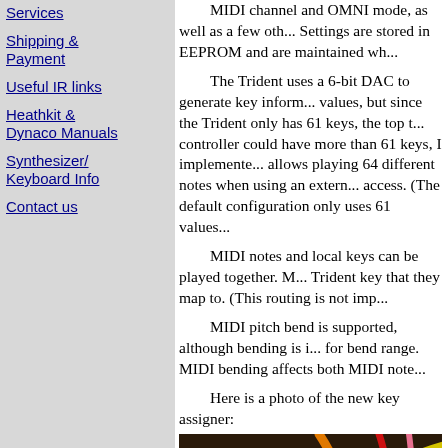Services
Shipping & Payment
Useful IR links
Heathkit & Dynaco Manuals
Synthesizer/ Keyboard Info
Contact us
MIDI channel and OMNI mode, as well as a few oth... Settings are stored in EEPROM and are maintained wh...
The Trident uses a 6-bit DAC to generate key inform... values, but since the Trident only has 61 keys, the top t... controller could have more than 61 keys, I implemente... allows playing 64 different notes when using an extern... access. (The default configuration only uses 61 values...
MIDI notes and local keys can be played together. M... Trident key that they map to. (This routing is not imp...
MIDI pitch bend is supported, although bending is i... for bend range. MIDI bending affects both MIDI note...
Here is a photo of the new key assigner:
[Figure (photo): Photo of colorful wires bundled together forming the new key assigner circuit]